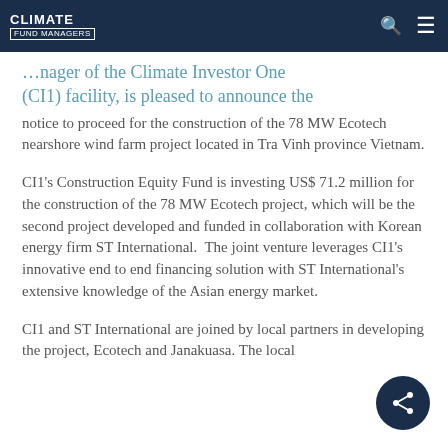Climate Fund Managers
…manager of the Climate Investor One (CI1) facility, is pleased to announce the notice to proceed for the construction of the 78 MW Ecotech nearshore wind farm project located in Tra Vinh province Vietnam.
CI1's Construction Equity Fund is investing US$ 71.2 million for the construction of the 78 MW Ecotech project, which will be the second project developed and funded in collaboration with Korean energy firm ST International. The joint venture leverages CI1's innovative end to end financing solution with ST International's extensive knowledge of the Asian energy market.
CI1 and ST International are joined by local partners in developing the project, Ecotech and Janakuasa. The local